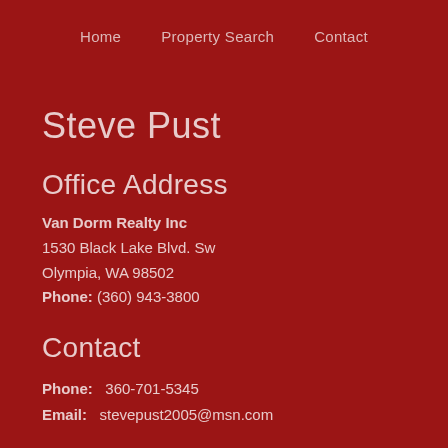Home   Property Search   Contact
Steve Pust
Office Address
Van Dorm Realty Inc
1530 Black Lake Blvd. Sw
Olympia, WA 98502
Phone: (360) 943-3800
Contact
Phone:   360-701-5345
Email:   stevepust2005@msn.com
[Figure (logo): Facebook and YouTube social media icons in white]